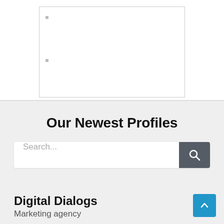[Figure (screenshot): A partial document or content frame shown as a white rectangle with a thin gray border, with small gray bullet/dot markers on the left side.]
Our Newest Profiles
[Figure (screenshot): A search bar with placeholder text 'Search...' and a dark gray search button with a magnifying glass icon on the right.]
Digital Dialogs
Marketing agency